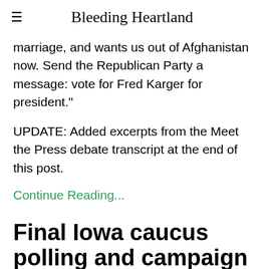Bleeding Heartland
marriage, and wants us out of Afghanistan now. Send the Republican Party a message: vote for Fred Karger for president."
UPDATE: Added excerpts from the Meet the Press debate transcript at the end of this post.
Continue Reading...
Final Iowa caucus polling and campaign